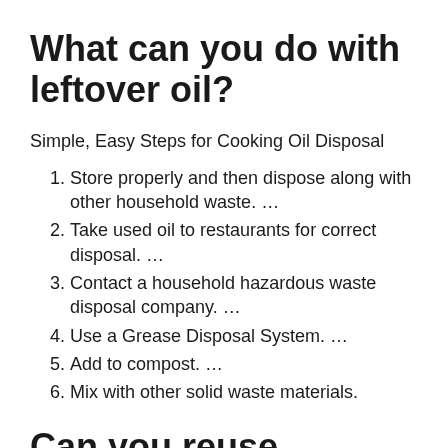What can you do with leftover oil?
Simple, Easy Steps for Cooking Oil Disposal
Store properly and then dispose along with other household waste. …
Take used oil to restaurants for correct disposal. …
Contact a household hazardous waste disposal company. …
Use a Grease Disposal System. …
Add to compost. …
Mix with other solid waste materials.
Can you reuse cooking oil